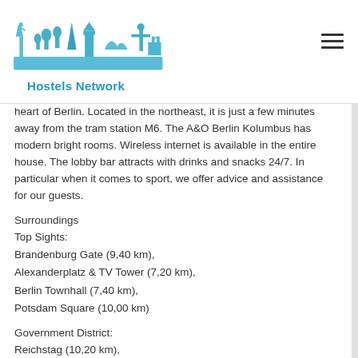Hostels Network
heart of Berlin. Located in the northeast, it is just a few minutes away from the tram station M6. The A&O Berlin Kolumbus has modern bright rooms. Wireless internet is available in the entire house. The lobby bar attracts with drinks and snacks 24/7. In particular when it comes to sport, we offer advice and assistance for our guests.
Surroundings
Top Sights:
Brandenburg Gate (9,40 km),
Alexanderplatz & TV Tower (7,20 km),
Berlin Townhall (7,40 km),
Potsdam Square (10,00 km)
Government District:
Reichstag (10,20 km),
Federal Chancellery (10,70 km)